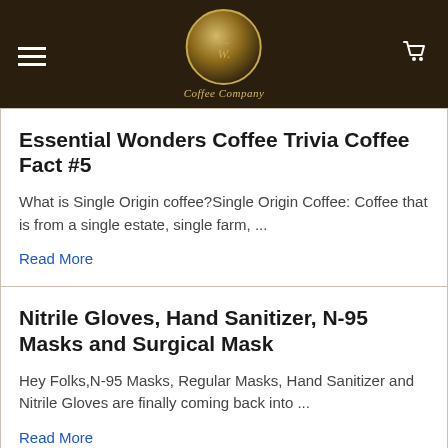E.W. Coffee Company
Essential Wonders Coffee Trivia Coffee Fact #5
What is Single Origin coffee?Single Origin Coffee: Coffee that is from a single estate, single farm, ...
Read More
Nitrile Gloves, Hand Sanitizer, N-95 Masks and Surgical Mask
Hey Folks,N-95 Masks, Regular Masks, Hand Sanitizer and Nitrile Gloves are finally coming back into ...
Read More